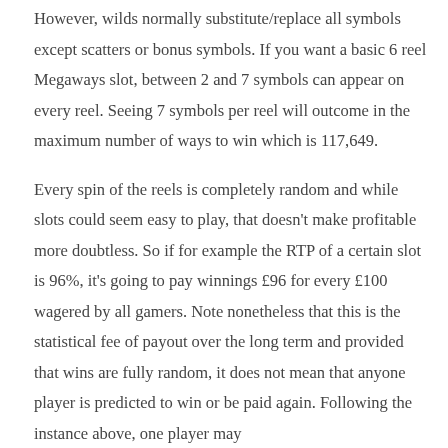However, wilds normally substitute/replace all symbols except scatters or bonus symbols. If you want a basic 6 reel Megaways slot, between 2 and 7 symbols can appear on every reel. Seeing 7 symbols per reel will outcome in the maximum number of ways to win which is 117,649.
Every spin of the reels is completely random and while slots could seem easy to play, that doesn't make profitable more doubtless. So if for example the RTP of a certain slot is 96%, it's going to pay winnings £96 for every £100 wagered by all gamers. Note nonetheless that this is the statistical fee of payout over the long term and provided that wins are fully random, it does not mean that anyone player is predicted to win or be paid again. Following the instance above, one player may